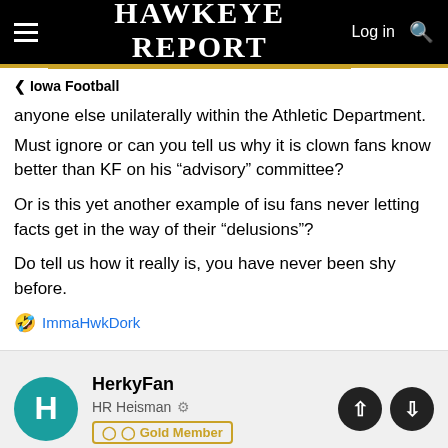Hawkeye Report
< Iowa Football
anyone else unilaterally within the Athletic Department.
Must ignore or can you tell us why it is clown fans know better than KF on his “advisory” committee?
Or is this yet another example of isu fans never letting facts get in the way of their “delusions”?
Do tell us how it really is, you have never been shy before.
🤣 ImmaHwkDork
HerkyFan
HR Heisman • Gold Member